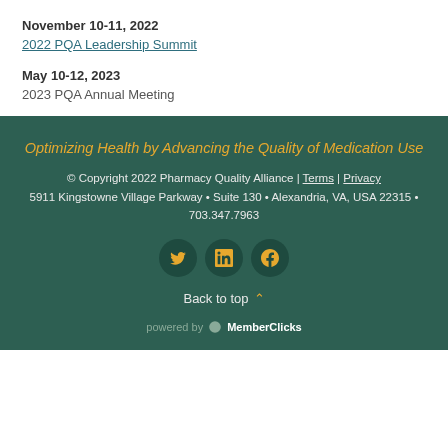November 10-11, 2022
2022 PQA Leadership Summit
May 10-12, 2023
2023 PQA Annual Meeting
Optimizing Health by Advancing the Quality of Medication Use
© Copyright 2022 Pharmacy Quality Alliance | Terms | Privacy
5911 Kingstowne Village Parkway • Suite 130 • Alexandria, VA, USA 22315 • 703.347.7963
Back to top
powered by MemberClicks